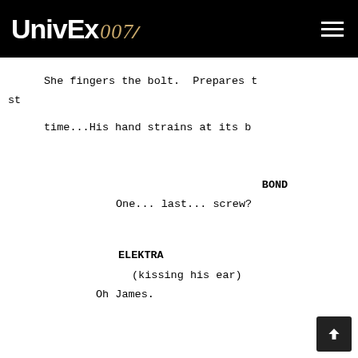UnivEx 007 [navigation bar with hamburger menu]
She fingers the bolt.  Prepares t
st
time...His hand strains at its b
BOND
One... last... screw?
ELEKTRA
(kissing his ear)
Oh James.